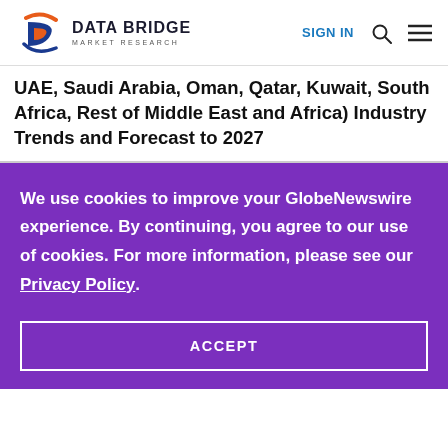DATA BRIDGE MARKET RESEARCH | SIGN IN
UAE, Saudi Arabia, Oman, Qatar, Kuwait, South Africa, Rest of Middle East and Africa) Industry Trends and Forecast to 2027
We use cookies to improve your GlobeNewswire experience. By continuing, you agree to our use of cookies. For more information, please see our Privacy Policy.
ACCEPT